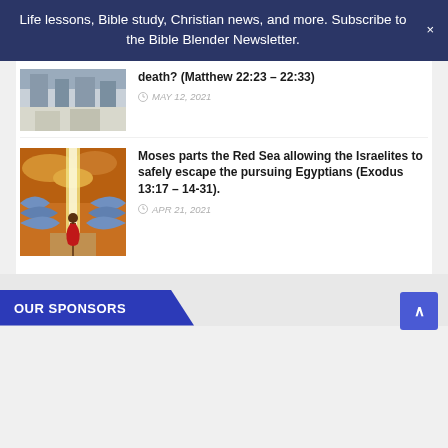Life lessons, Bible study, Christian news, and more. Subscribe to the Bible Blender Newsletter.
[Figure (illustration): Partial view of a biblical scene illustration at the top of the first article row]
death? (Matthew 22:23 – 22:33)
MAY 12, 2021
[Figure (illustration): Painting of Moses parting the Red Sea with Israelites, dramatic light column, waves on either side]
Moses parts the Red Sea allowing the Israelites to safely escape the pursuing Egyptians (Exodus 13:17 – 14-31).
APR 21, 2021
OUR SPONSORS